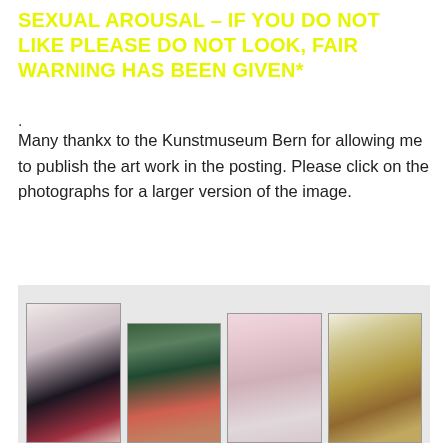SEXUAL AROUSAL – IF YOU DO NOT LIKE PLEASE DO NOT LOOK, FAIR WARNING HAS BEEN GIVEN*
.
Many thankx to the Kunstmuseum Bern for allowing me to publish the art work in the posting. Please click on the photographs for a larger version of the image.
[Figure (photo): Four photographs displayed on a light grey wall: 1) A woman with dark hair in an American flag bikini top, 2) A young person sitting outdoors in a blue top and red skirt, 3) A fair-haired woman in a white bra and underwear, 4) A woman in yellow striped top holding something, wearing a plaid skirt]